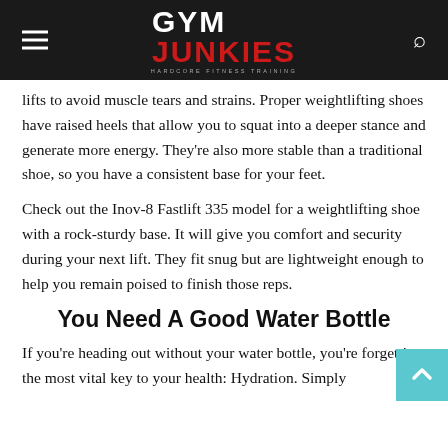GYM JUNKIES — Hardcore Fitness Training
lifts to avoid muscle tears and strains. Proper weightlifting shoes have raised heels that allow you to squat into a deeper stance and generate more energy. They're also more stable than a traditional shoe, so you have a consistent base for your feet.
Check out the Inov-8 Fastlift 335 model for a weightlifting shoe with a rock-sturdy base. It will give you comfort and security during your next lift. They fit snug but are lightweight enough to help you remain poised to finish those reps.
You Need A Good Water Bottle
If you're heading out without your water bottle, you're forgetting the most vital key to your health: Hydration. Simply